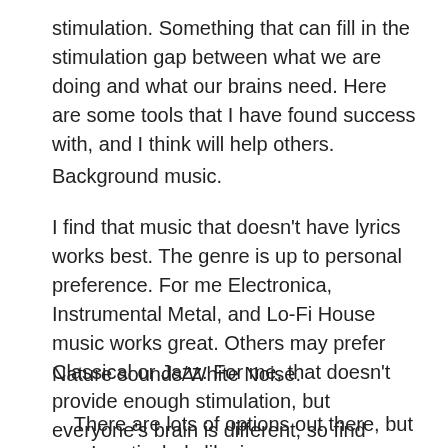stimulation. Something that can fill in the stimulation gap between what we are doing and what our brains need. Here are some tools that I have found success with, and I think will help others.
Background music.
I find that music that doesn't have lyrics works best. The genre is up to personal preference. For me Electronica, Instrumental Metal, and Lo-Fi House music works great. Others may prefer Classical or Jazz. For me, that doesn't provide enough stimulation, but everyone's brain is different, so find something that works for you.
Nature sounds/White Noise.
There are lots of options out there, but one I particularly like is https://mynoise.net/. It provides highly